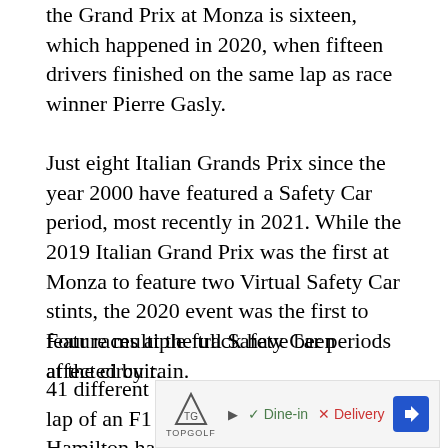the Grand Prix at Monza is sixteen, which happened in 2020, when fifteen drivers finished on the same lap as race winner Pierre Gasly.
Just eight Italian Grands Prix since the year 2000 have featured a Safety Car period, most recently in 2021. While the 2019 Italian Grand Prix was the first at Monza to feature two Virtual Safety Car stints, the 2020 event was the first to feature multiple full Safety Car periods at the circuit.
Four races at the track have been affected by rain.
41 different drivers have set the fastest lap of an F1 race at Monza. Lewis Hamilton has taken more fastest laps at the Italian Grand Prix than any other
[Figure (other): Advertisement banner for TopGolf showing Dine-in checkmark and Delivery X options with a navigation arrow icon]